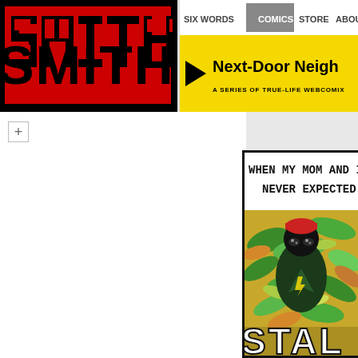[Figure (screenshot): SMITH Magazine website header. Left: SMITH logo in red on black background. Right top: navigation bar with items SIX WORDS, COMICS (highlighted grey), STORE, ABOUT. Right bottom: yellow banner with black arrow and text 'Next-Door Neigh...' subtitle 'A SERIES OF TRUE-LIFE WEBCOMIX']
+
[Figure (illustration): Comic panel from 'Next-Door Neighbor' webcomic. Speech bubble text at top reads: 'WHEN MY MOM AND I MOVE... NEVER EXPECTED A...' Below is a colorful comic illustration of a figure wearing a dark hoodie and red beanie against a swirling green/orange serpentine background. At the bottom, large white bold text reads 'STAL...' (cut off, implying STALKER)]